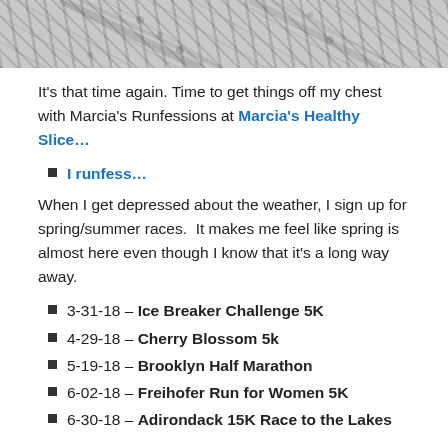[Figure (photo): Snow/snowy ground with tire tracks, black and white photo strip at top of page]
It's that time again. Time to get things off my chest with Marcia's Runfessions at Marcia's Healthy Slice…
I runfess…
When I get depressed about the weather, I sign up for spring/summer races.  It makes me feel like spring is almost here even though I know that it's a long way away.
3-31-18 – Ice Breaker Challenge 5K
4-29-18 – Cherry Blossom 5k
5-19-18 – Brooklyn Half Marathon
6-02-18 – Freihofer Run for Women 5K
6-30-18 – Adirondack 15K Race to the Lakes